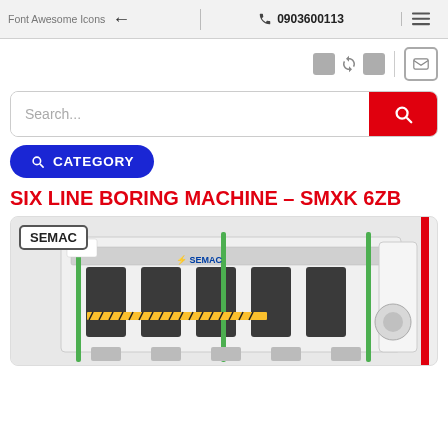Font Awesome Icons  ← | ☎ 0903600113 | ≡
[Figure (screenshot): Navigation/toolbar icons: two grey squares, refresh icon, grey square, vertical divider, mail icon button]
[Figure (screenshot): Search bar with placeholder text 'Search...' and red search button with magnifying glass icon]
[Figure (screenshot): Blue rounded CATEGORY button with search icon]
SIX LINE BORING MACHINE – SMXK 6ZB
[Figure (photo): Photo of SEMAC branded six-line boring machine (industrial woodworking machine). Machine is white/grey with multiple drilling heads and green vertical guides. SEMAC logo visible on machine and top-left label box. Red vertical bar on right edge. Watermark text 'hocquy.com.vn' on right side.]